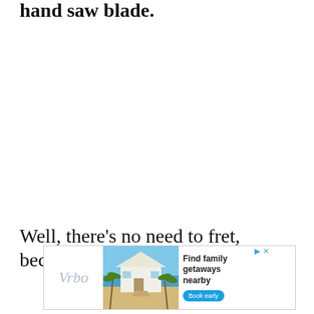hand saw blade.
Well, there's no need to fret, because
[Figure (other): Advertisement for Vrbo showing a beach house with palm trees. Text reads 'Find family getaways nearby' with a 'Book early' button.]